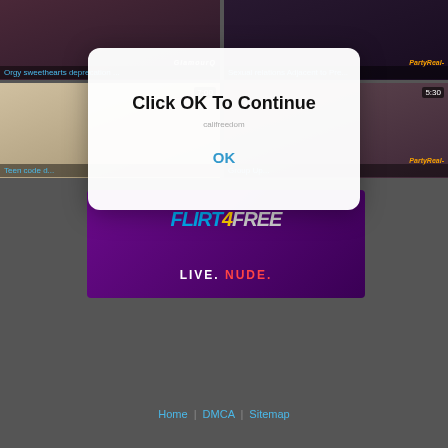[Figure (screenshot): Video thumbnail grid showing adult content website with modal dialog overlay. Top row: two video thumbnails with titles 'Orgy sweethearts deprecation ...' and 'Sexual relations Adjacent to Pre...'. Second row: two thumbnails labeled 'Teen code d...' and 'Group Up...' with durations 7:00 and 5:30. A modal dialog overlays center with text 'Click OK To Continue' and an OK button. Below is a Flirt4Free advertisement banner with 'LIVE. NUDE.' tagline. Footer has Home | DMCA | Sitemap links.]
Click OK To Continue
OK
Home | DMCA | Sitemap